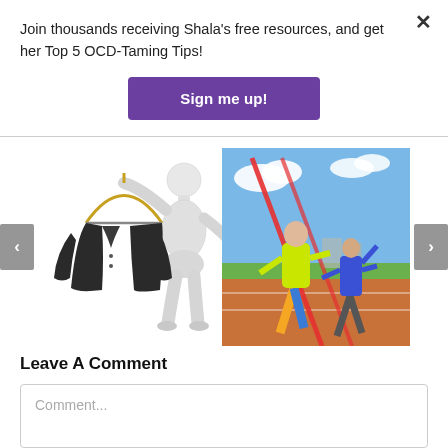Join thousands receiving Shala's free resources, and get her Top 5 OCD-Taming Tips!
Sign me up!
[Figure (illustration): 3D white mannequin figure holding a dark suit jacket on a hanger]
[Figure (photo): Athletes running on a track crossing a red finish line ribbon, blue sky background]
Leave A Comment
Comment...